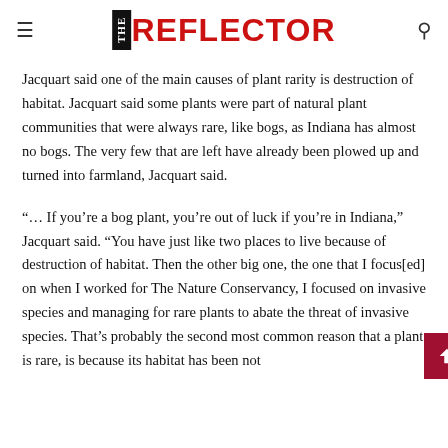THE REFLECTOR
Jacquart said one of the main causes of plant rarity is destruction of habitat. Jacquart said some plants were part of natural plant communities that were always rare, like bogs, as Indiana has almost no bogs. The very few that are left have already been plowed up and turned into farmland, Jacquart said.
“… If you’re a bog plant, you’re out of luck if you’re in Indiana,” Jacquart said. “You have just like two places to live because of destruction of habitat. Then the other big one, the one that I focus[ed] on when I worked for The Nature Conservancy, I focused on invasive species and managing for rare plants to abate the threat of invasive species. That’s probably the second most common reason that a plant is rare, is because its habitat has been not